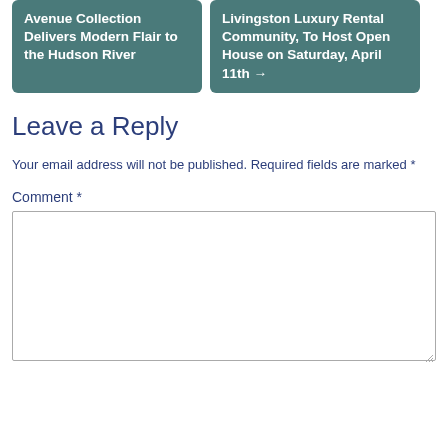Avenue Collection Delivers Modern Flair to the Hudson River
Livingston Luxury Rental Community, To Host Open House on Saturday, April 11th →
Leave a Reply
Your email address will not be published. Required fields are marked *
Comment *